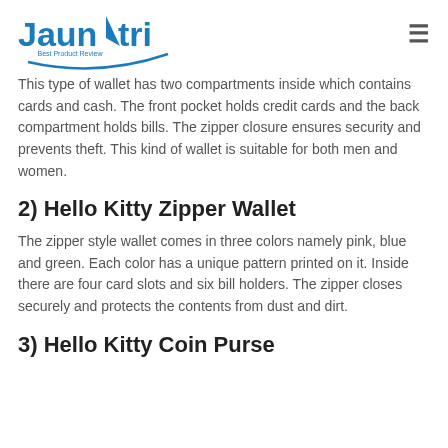Jaunatri — Best Product Review
This type of wallet has two compartments inside which contains cards and cash. The front pocket holds credit cards and the back compartment holds bills. The zipper closure ensures security and prevents theft. This kind of wallet is suitable for both men and women.
2) Hello Kitty Zipper Wallet
The zipper style wallet comes in three colors namely pink, blue and green. Each color has a unique pattern printed on it. Inside there are four card slots and six bill holders. The zipper closes securely and protects the contents from dust and dirt.
3) Hello Kitty Coin Purse